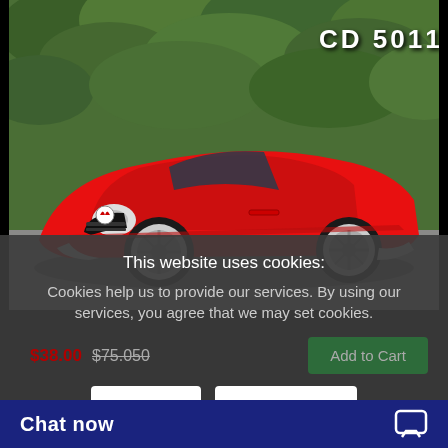[Figure (photo): Red Alfa Romeo classic convertible sports car parked in front of a green hedge/wall. White text in upper right reads 'CD 5011'.]
This website uses cookies:
Cookies help us to provide our services. By using our services, you agree that we may set cookies.
$38.00  $75.050  Add to Cart
I Agree
Learn More
Chat now